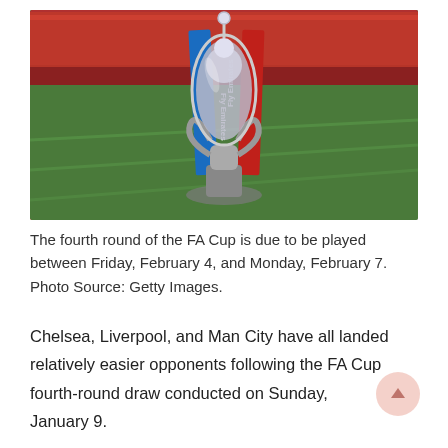[Figure (photo): FA Cup trophy on a football pitch with blue and red Fly Emirates ribbons, stadium seating visible in background. Photo source: Getty Images.]
The fourth round of the FA Cup is due to be played between Friday, February 4, and Monday, February 7. Photo Source: Getty Images.
Chelsea, Liverpool, and Man City have all landed relatively easier opponents following the FA Cup fourth-round draw conducted on Sunday, January 9.